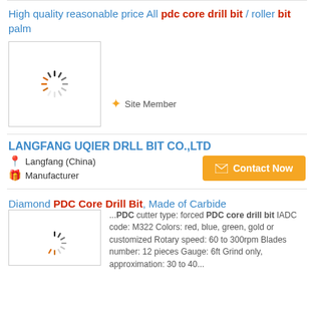High quality reasonable price All pdc core drill bit / roller bit palm
[Figure (photo): Loading spinner image placeholder for product photo]
Site Member
LANGFANG UQIER DRLL BIT CO.,LTD
Langfang (China)
Manufacturer
Diamond PDC Core Drill Bit, Made of Carbide
...PDC cutter type: forced PDC core drill bit IADC code: M322 Colors: red, blue, green, gold or customized Rotary speed: 60 to 300rpm Blades number: 12 pieces Gauge: 6ft Grind only, approximation: 30 to 40...
[Figure (photo): Loading spinner image placeholder for second product photo]